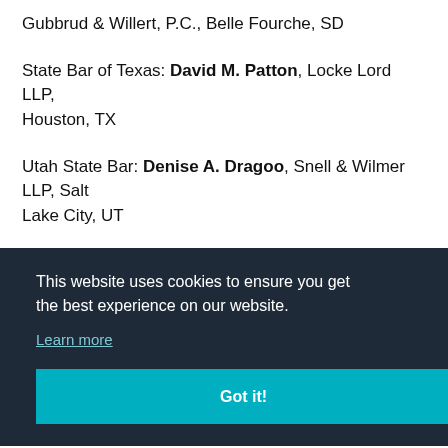Gubbrud & Willert, P.C., Belle Fourche, SD
State Bar of Texas: David M. Patton, Locke Lord LLP, Houston, TX
Utah State Bar: Denise A. Dragoo, Snell & Wilmer LLP, Salt Lake City, UT
Wyoming State Bar: Keith S. Burron, The Burron Firm, P.C.,
Miners
This website uses cookies to ensure you get the best experience on our website. Learn more Got it!
American Association of Professional Landman: Michelle F.